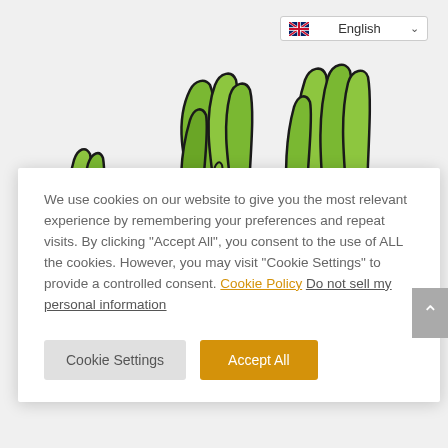[Figure (screenshot): Language selector dropdown showing English with UK flag]
[Figure (illustration): Illustrated green banana/plant characters peeking from behind the cookie modal]
We use cookies on our website to give you the most relevant experience by remembering your preferences and repeat visits. By clicking "Accept All", you consent to the use of ALL the cookies. However, you may visit "Cookie Settings" to provide a controlled consent. Cookie Policy Do not sell my personal information
Cookie Settings
Accept All